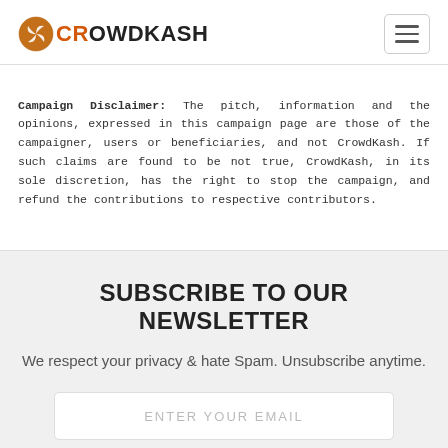CROWDKASH
Campaign Disclaimer: The pitch, information and the opinions, expressed in this campaign page are those of the campaigner, users or beneficiaries, and not CrowdKash. If such claims are found to be not true, CrowdKash, in its sole discretion, has the right to stop the campaign, and refund the contributions to respective contributors.
SUBSCRIBE TO OUR NEWSLETTER
We respect your privacy & hate Spam. Unsubscribe anytime.
ENTER YOUR EMAIL